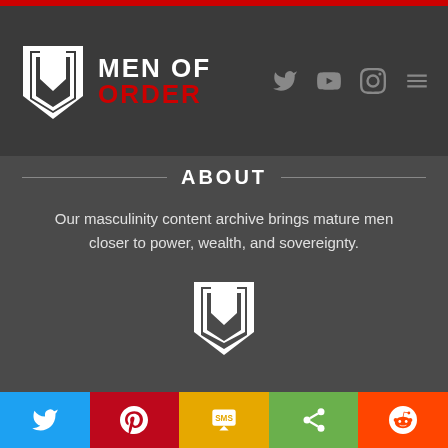[Figure (logo): Men of Order logo with M shield icon and text MEN OF ORDER]
ABOUT
Our masculinity content archive brings mature men closer to power, wealth, and sovereignty.
[Figure (logo): Men of Order M shield icon (white, centered)]
Social share bar: Twitter, Pinterest, SMS, Share, Reddit